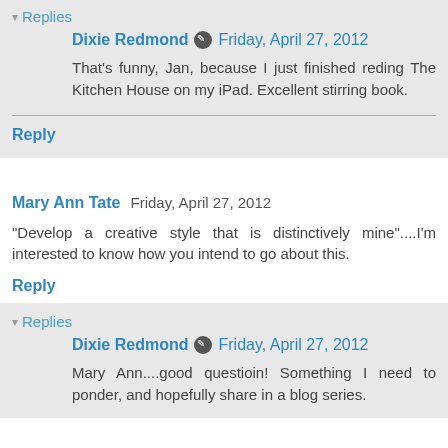▾ Replies
Dixie Redmond ✎ Friday, April 27, 2012
That's funny, Jan, because I just finished reding The Kitchen House on my iPad. Excellent stirring book.
Reply
Mary Ann Tate   Friday, April 27, 2012
"Develop a creative style that is distinctively mine"....I'm interested to know how you intend to go about this.
Reply
▾ Replies
Dixie Redmond ✎ Friday, April 27, 2012
Mary Ann....good questioin! Something I need to ponder, and hopefully share in a blog series.